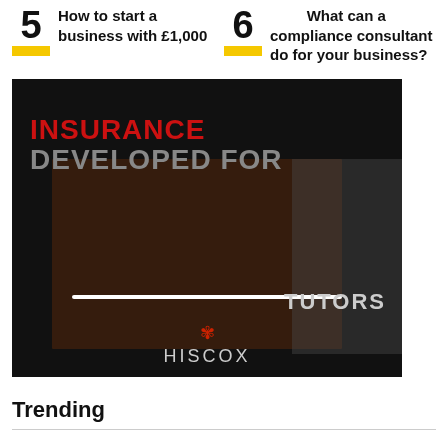5 How to start a business with £1,000
6 What can a compliance consultant do for your business?
[Figure (screenshot): Hiscox insurance advertisement showing dark background with text 'INSURANCE DEVELOPED FOR' in red and gray, a photo of a person, a progress bar, 'TUTORS' text, and Hiscox logo at bottom.]
Trending